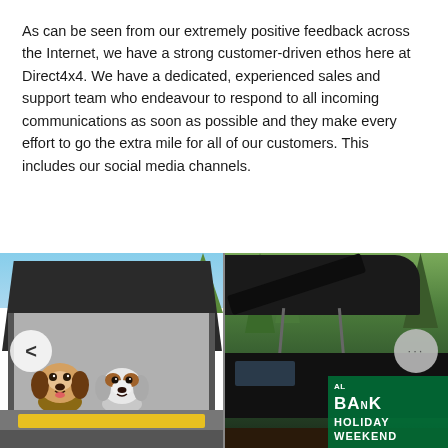As can be seen from our extremely positive feedback across the Internet, we have a strong customer-driven ethos here at Direct4x4. We have a dedicated, experienced sales and support team who endeavour to respond to all incoming communications as soon as possible and they make every effort to go the extra mile for all of our customers. This includes our social media channels.
[Figure (photo): Two dogs (puppies) inside a rooftop tent, looking out. A yellow device or label is visible at the bottom. Left navigation arrow button visible.]
[Figure (photo): A rooftop tent mounted on a dark vehicle, partially open. Green forest background. A green banner in bottom-right corner reads 'BANK HOLIDAY WEEKEND'. A gray circular button with ellipsis (...) visible.]